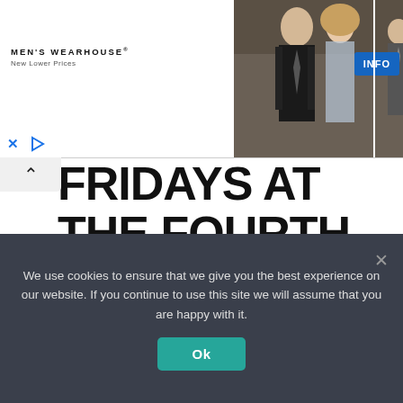[Figure (photo): Men's Wearhouse advertisement banner showing a couple in formal attire and a man in a suit, with an INFO button]
FRIDAYS AT THE FOURTH
The National Arts Center presents Fridays at the Fourth with Scott-Pien Picard Friday night.
For more information, visit https://pac...
We use cookies to ensure that we give you the best experience on our website. If you continue to use this site we will assume that you are happy with it.